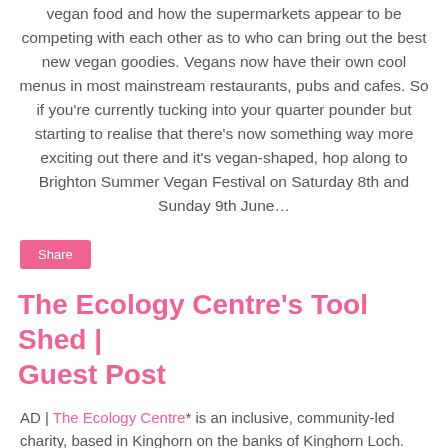vegan food and how the supermarkets appear to be competing with each other as to who can bring out the best new vegan goodies. Vegans now have their own cool menus in most mainstream restaurants, pubs and cafes. So if you're currently tucking into your quarter pounder but starting to realise that there's now something way more exciting out there and it's vegan-shaped, hop along to Brighton Summer Vegan Festival on Saturday 8th and Sunday 9th June…
Share
The Ecology Centre's Tool Shed | Guest Post
AD | The Ecology Centre* is an inclusive, community-led charity, based in Kinghorn on the banks of Kinghorn Loch. The Centre inspires positive change by directly connecting